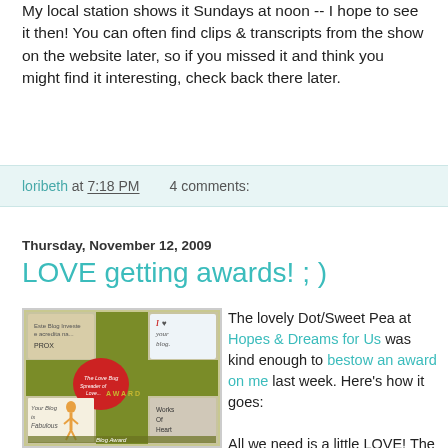My local station shows it Sundays at noon -- I hope to see it then! You can often find clips & transcripts from the show on the website later, so if you missed it and think you might find it interesting, check back there later.
loribeth at 7:18 PM   2 comments:
Thursday, November 12, 2009
LOVE getting awards! ; )
[Figure (photo): Collage of blog award images including hearts, fashion illustration, and text elements like 'I love your blog', 'Works of Heart', 'Your Blog is Fabulous', 'Blog Award']
The lovely Dot/Sweet Pea at Hopes & Dreams for Us was kind enough to bestow an award on me last week. Here's how it goes:

All we need is a little LOVE! The rules for this award is simple. I LOVE YOU = 8 letters which gives you 8 rules